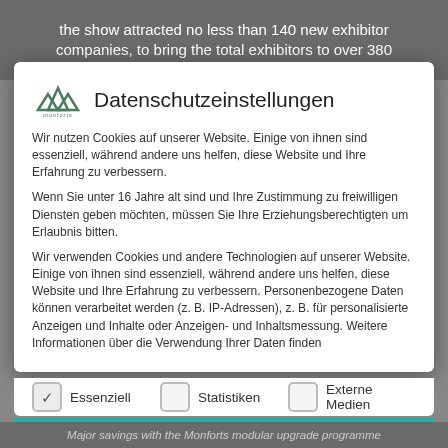the show attracted no less than 140 new exhibitor companies, to bring the total exhibitors to over 380
Datenschutzeinstellungen
Wir nutzen Cookies auf unserer Website. Einige von ihnen sind essenziell, während andere uns helfen, diese Website und Ihre Erfahrung zu verbessern.
Wenn Sie unter 16 Jahre alt sind und Ihre Zustimmung zu freiwilligen Diensten geben möchten, müssen Sie Ihre Erziehungsberechtigten um Erlaubnis bitten.
Wir verwenden Cookies und andere Technologien auf unserer Website. Einige von ihnen sind essenziell, während andere uns helfen, diese Website und Ihre Erfahrung zu verbessern. Personenbezogene Daten können verarbeitet werden (z. B. IP-Adressen), z. B. für personalisierte Anzeigen und Inhalte oder Anzeigen- und Inhaltsmessung. Weitere Informationen über die Verwendung Ihrer Daten finden
Essenziell
Statistiken
Externe Medien
Major savings with the Monforts modular upgrade programme